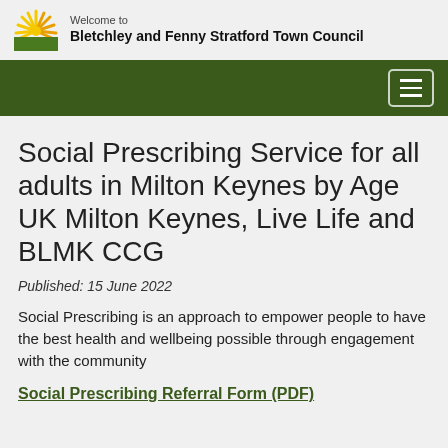Welcome to Bletchley and Fenny Stratford Town Council
Social Prescribing Service for all adults in Milton Keynes by Age UK Milton Keynes, Live Life and BLMK CCG
Published: 15 June 2022
Social Prescribing is an approach to empower people to have the best health and wellbeing possible through engagement with the community
Social Prescribing Referral Form (PDF)